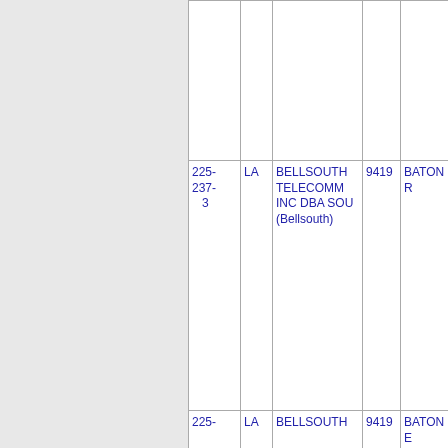| Phone | State | Carrier | Num | City |
| --- | --- | --- | --- | --- |
|  |  |  |  |  |
| 225-237-3 | LA | BELLSOUTH TELECOMM INC DBA SOU (Bellsouth) | 9419 | BATONR |
| 225- | LA | BELLSOUTH | 9419 | BATONE |